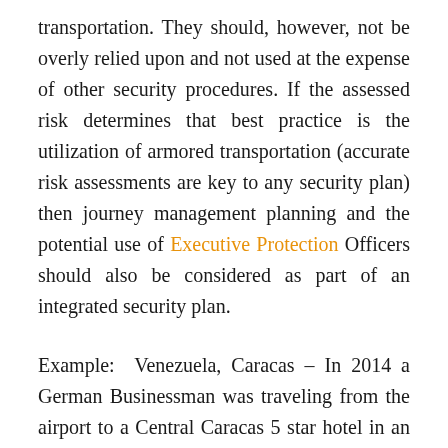transportation. They should, however, not be overly relied upon and not used at the expense of other security procedures. If the assessed risk determines that best practice is the utilization of armored transportation (accurate risk assessments are key to any security plan) then journey management planning and the potential use of Executive Protection Officers should also be considered as part of an integrated security plan.
Example: Venezuela, Caracas – In 2014 a German Businessman was traveling from the airport to a Central Caracas 5 star hotel in an armored vehicle. Assailants followed him, waited until he exited the vehicle and attacked him in the lobby of the hotel – killing him in the process of a failed protection effort